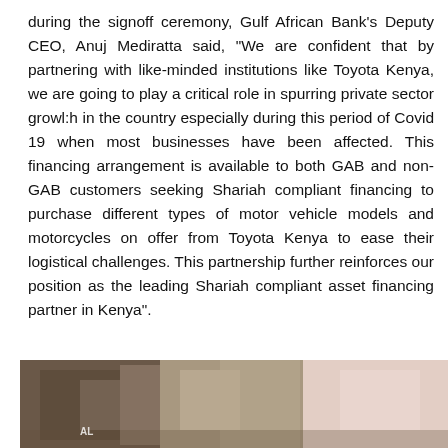during the signoff ceremony, Gulf African Bank's Deputy CEO, Anuj Mediratta said, "We are confident that by partnering with like-minded institutions like Toyota Kenya, we are going to play a critical role in spurring private sector growl:h in the country especially during this period of Covid 19 when most businesses have been affected. This financing arrangement is available to both GAB and non-GAB customers seeking Shariah compliant financing to purchase different types of motor vehicle models and motorcycles on offer from Toyota Kenya to ease their logistical challenges. This partnership further reinforces our position as the leading Shariah compliant asset financing partner in Kenya".
[Figure (photo): A photograph showing people at what appears to be a signing ceremony or business event, partially visible at the bottom of the page.]